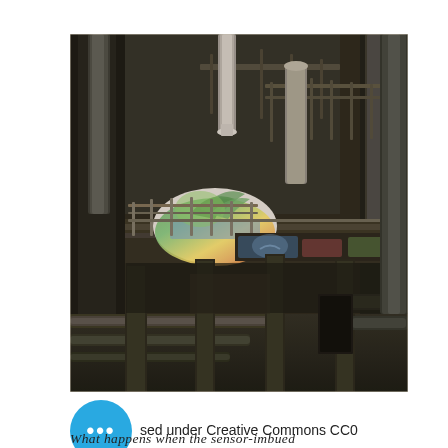[Figure (photo): Abandoned industrial facility interior showing large metal pipes, rusted scaffolding, metal walkways, and graffiti-covered cylindrical structure. Dark, gritty urban exploration photography.]
sed under Creative Commons CC0
What happens when the sensor-imbued